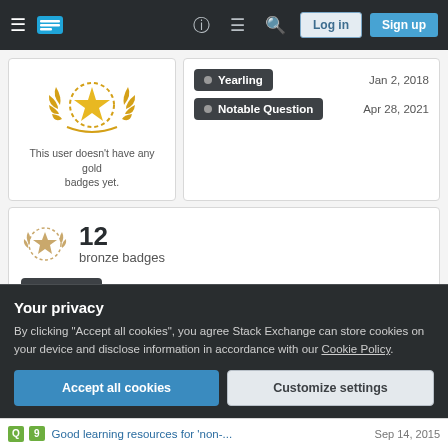Stack Exchange navigation bar with Log in and Sign up buttons
This user doesn't have any gold badges yet.
Yearling	Jan 2, 2018
Notable Question	Apr 28, 2021
12 bronze badges
Curious	Feb 10, 2017
Citizen Patrol	Feb 7, 2017
Your privacy
By clicking "Accept all cookies", you agree Stack Exchange can store cookies on your device and disclose information in accordance with our Cookie Policy.
Accept all cookies
Customize settings
Q  9  Good learning resources for 'non-...  Sep 14, 2015